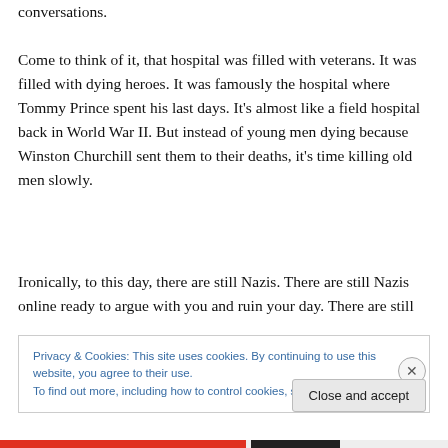conversations.
Come to think of it, that hospital was filled with veterans. It was filled with dying heroes. It was famously the hospital where Tommy Prince spent his last days. It’s almost like a field hospital back in World War II. But instead of young men dying because Winston Churchill sent them to their deaths, it’s time killing old men slowly.
Ironically, to this day, there are still Nazis. There are still Nazis online ready to argue with you and ruin your day. There are still
Privacy & Cookies: This site uses cookies. By continuing to use this website, you agree to their use.
To find out more, including how to control cookies, see here: Cookie Policy